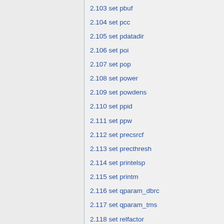2.103 set pbuf
2.104 set pcc
2.105 set pdatadir
2.106 set poi
2.107 set pop
2.108 set power
2.109 set powdens
2.110 set ppid
2.111 set ppw
2.112 set precsrcf
2.113 set precthresh
2.114 set printelsp
2.115 set printm
2.116 set qparam_dbrc
2.117 set qparam_tms
2.118 set relfactor
2.119 set repro
2.120 set rfr
2.121 set rfw
2.122 set rnddec